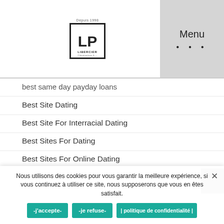LP Libercier - depuis 1998 - Menu
best same day payday loans
Best Site Dating
Best Site For Interracial Dating
Best Sites For Dating
Best Sites For Online Dating
best title loan
best title loans
best title loans near me
Nous utilisons des cookies pour vous garantir la meilleure expérience, si vous continuez à utiliser ce site, nous supposerons que vous en êtes satisfait.
-j'accepte-  -je refuse-  | politique de confidentialité |